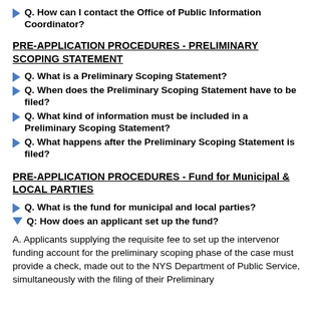Q. How can I contact the Office of Public Information Coordinator?
PRE-APPLICATION PROCEDURES - PRELIMINARY SCOPING STATEMENT
Q. What is a Preliminary Scoping Statement?
Q. When does the Preliminary Scoping Statement have to be filed?
Q. What kind of information must be included in a Preliminary Scoping Statement?
Q. What happens after the Preliminary Scoping Statement is filed?
PRE-APPLICATION PROCEDURES - Fund for Municipal & LOCAL PARTIES
Q. What is the fund for municipal and local parties?
Q: How does an applicant set up the fund?
A. Applicants supplying the requisite fee to set up the intervenor funding account for the preliminary scoping phase of the case must provide a check, made out to the NYS Department of Public Service, simultaneously with the filing of their Preliminary